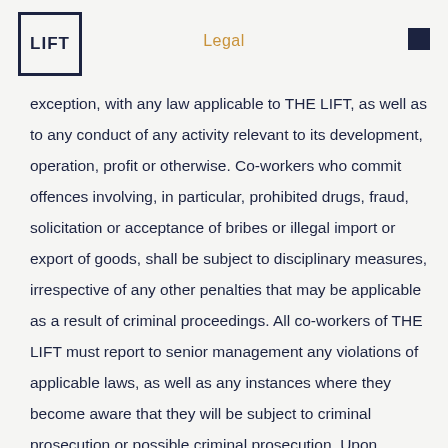Legal
exception, with any law applicable to THE LIFT, as well as to any conduct of any activity relevant to its development, operation, profit or otherwise. Co-workers who commit offences involving, in particular, prohibited drugs, fraud, solicitation or acceptance of bribes or illegal import or export of goods, shall be subject to disciplinary measures, irrespective of any other penalties that may be applicable as a result of criminal proceedings. All co-workers of THE LIFT must report to senior management any violations of applicable laws, as well as any instances where they become aware that they will be subject to criminal prosecution or possible criminal prosecution. Upon receipt of such information, senior management shall decide on the form in which the co-worker may be retained in his or her normal duties, or the manner or the form in which the